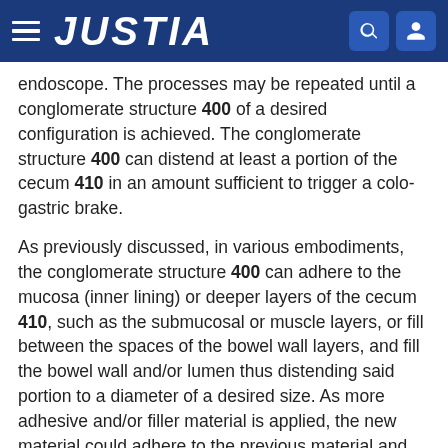JUSTIA
endoscope. The processes may be repeated until a conglomerate structure 400 of a desired configuration is achieved. The conglomerate structure 400 can distend at least a portion of the cecum 410 in an amount sufficient to trigger a colo-gastric brake.
As previously discussed, in various embodiments, the conglomerate structure 400 can adhere to the mucosa (inner lining) or deeper layers of the cecum 410, such as the submucosal or muscle layers, or fill between the spaces of the bowel wall layers, and fill the bowel wall and/or lumen thus distending said portion to a diameter of a desired size. As more adhesive and/or filler material is applied, the new material could adhere to the previous material and pile up in a mass or ball of material of various size and shape, but all to the effect of distending the lumen or wall of said bowel.